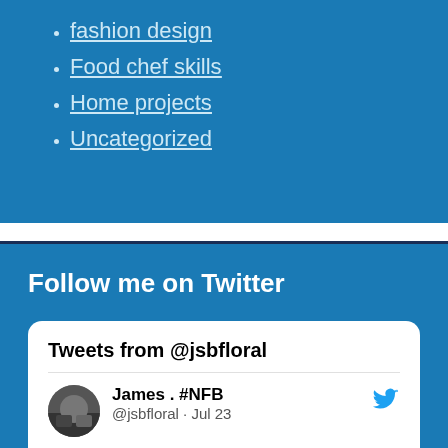fashion design
Food chef skills
Home projects
Uncategorized
Follow me on Twitter
Tweets from @jsbfloral
James . #NFB @jsbfloral · Jul 23
Cholesteatoma
reneworredo.com/2022/07/23/cho…